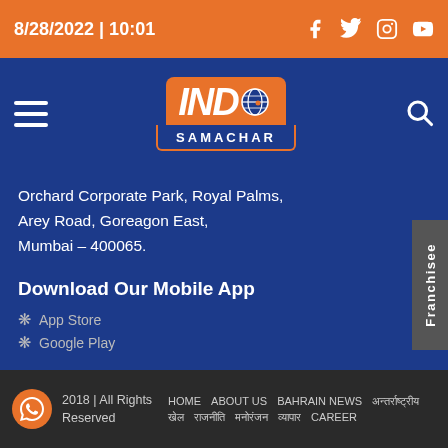8/28/2022 | 10:01
[Figure (logo): IND Samachar logo with orange IND text and globe icon, blue SAMACHAR text below]
Orchard Corporate Park, Royal Palms, Arey Road, Goreagon East, Mumbai – 400065.
Download Our Mobile App
App Store
Google Play
2018 | All Rights Reserved  HOME  ABOUT US  BAHRAIN NEWS  CAREER